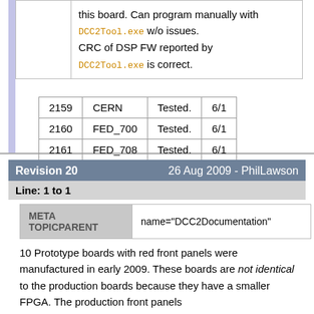|  | this board. Can program manually with DCC2Tool.exe w/o issues. CRC of DSP FW reported by DCC2Tool.exe is correct. |
| 2159 | CERN | Tested. | 6/1 |
| 2160 | FED_700 | Tested. | 6/1 |
| 2161 | FED_708 | Tested. | 6/1 |
Revision 20    26 Aug 2009 - PhilLawson
Line: 1 to 1
| META TOPICPARENT | name="DCC2Documentation" |
| --- | --- |
10 Prototype boards with red front panels were manufactured in early 2009. These boards are not identical to the production boards because they have a smaller FPGA. The production front panels